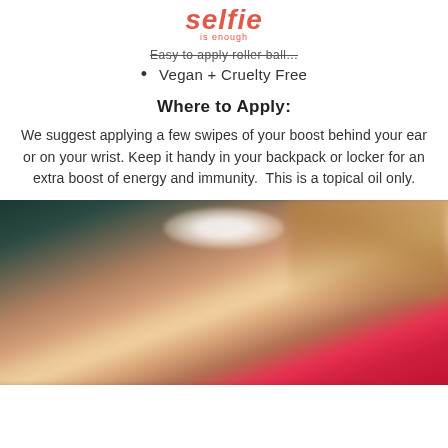selfie is enough
Easy to apply roller ball...
Vegan + Cruelty Free
Where to Apply:
We suggest applying a few swipes of your boost behind your ear or on your wrist. Keep it handy in your backpack or locker for an extra boost of energy and immunity.  This is a topical oil only.
[Figure (photo): Close-up blurred photo of a smiling woman with blonde hair wearing a red top, photographed against a dark teal background]